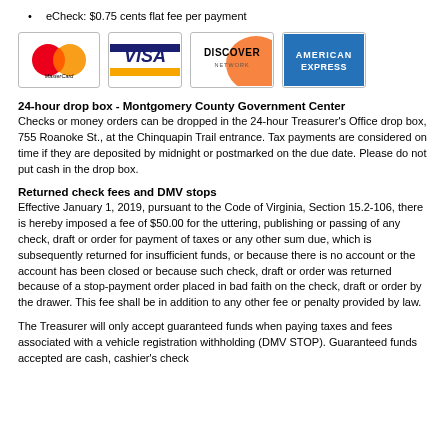eCheck: $0.75 cents flat fee per payment
[Figure (logo): Four payment method logos: MasterCard, VISA, Discover Network, American Express]
24-hour drop box - Montgomery County Government Center
Checks or money orders can be dropped in the 24-hour Treasurer's Office drop box, 755 Roanoke St., at the Chinquapin Trail entrance. Tax payments are considered on time if they are deposited by midnight or postmarked on the due date. Please do not put cash in the drop box.
Returned check fees and DMV stops
Effective January 1, 2019, pursuant to the Code of Virginia, Section 15.2-106, there is hereby imposed a fee of $50.00 for the uttering, publishing or passing of any check, draft or order for payment of taxes or any other sum due, which is subsequently returned for insufficient funds, or because there is no account or the account has been closed or because such check, draft or order was returned because of a stop-payment order placed in bad faith on the check, draft or order by the drawer. This fee shall be in addition to any other fee or penalty provided by law.
The Treasurer will only accept guaranteed funds when paying taxes and fees associated with a vehicle registration withholding (DMV STOP). Guaranteed funds accepted are cash, cashier's check